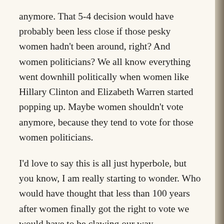anymore. That 5-4 decision would have probably been less close if those pesky women hadn't been around, right? And women politicians? We all know everything went downhill politically when women like Hillary Clinton and Elizabeth Warren started popping up. Maybe women shouldn't vote anymore, because they tend to vote for those women politicians.
I'd love to say this is all just hyperbole, but you know, I am really starting to wonder. Who would have thought that less than 100 years after women finally got the right to vote we would have to be clawing our way